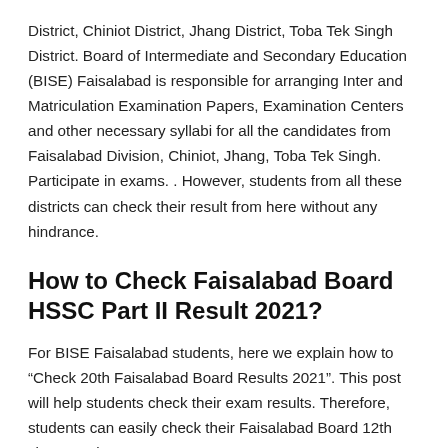District, Chiniot District, Jhang District, Toba Tek Singh District. Board of Intermediate and Secondary Education (BISE) Faisalabad is responsible for arranging Inter and Matriculation Examination Papers, Examination Centers and other necessary syllabi for all the candidates from Faisalabad Division, Chiniot, Jhang, Toba Tek Singh. Participate in exams. . However, students from all these districts can check their result from here without any hindrance.
How to Check Faisalabad Board HSSC Part II Result 2021?
For BISE Faisalabad students, here we explain how to “Check 20th Faisalabad Board Results 2021”. This post will help students check their exam results. Therefore, students can easily check their Faisalabad Board 12th class results 2021